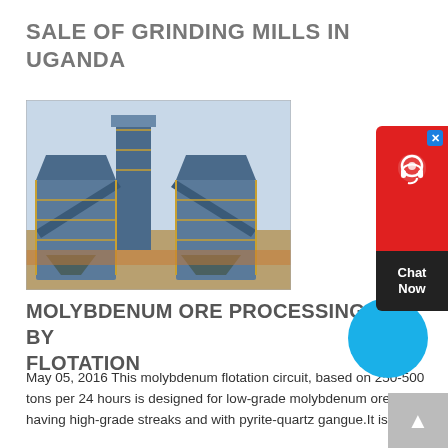SALE OF GRINDING MILLS IN UGANDA
[Figure (photo): Industrial grinding mill equipment — large blue metal structures with conveyor belts and scaffolding, photographed outdoors]
MOLYBDENUM ORE PROCESSING BY FLOTATION
May 05, 2016 This molybdenum flotation circuit, based on 250-500 tons per 24 hours is designed for low-grade molybdenum ore having high-grade streaks and with pyrite-quartz gangue.It is